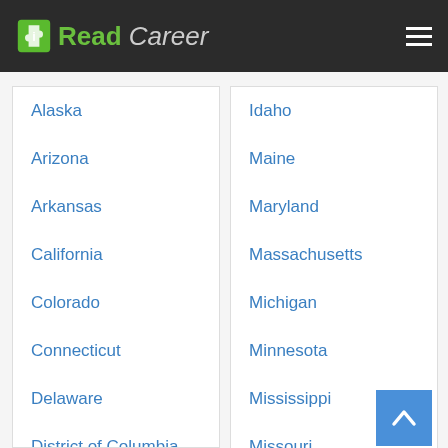Read Career
Alaska
Arizona
Arkansas
California
Colorado
Connecticut
Delaware
District of Columbia
Florida
Idaho
Maine
Maryland
Massachusetts
Michigan
Minnesota
Mississippi
Missouri
Montana